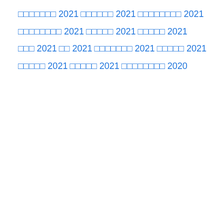ααααααα 2021
αααααα 2021
αααααααα 2021
αααααααα 2021
ααααα 2021
ααααα 2021
ααα 2021
αα 2021
ααααααα 2021
ααααα 2021
ααααα 2021
ααααα 2021
αααααααα 2020